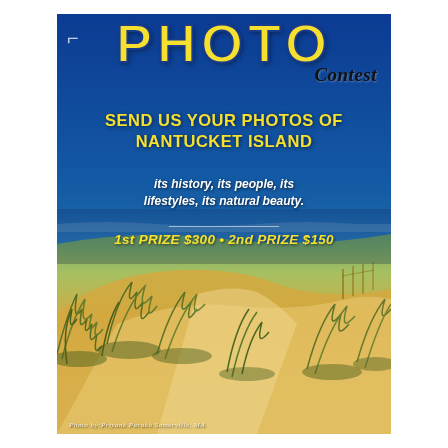[Figure (photo): Photo contest advertisement poster with a beach/coastal Nantucket Island scene. Top half shows blue ocean and sky, bottom half shows sandy beach dunes with beach grass. Overlaid text promotes a photo contest.]
PHOTO Contest
SEND US YOUR PHOTOS OF NANTUCKET ISLAND
its history, its people, its lifestyles, its natural beauty.
1st PRIZE $300 • 2nd PRIZE $150
Photo by:Priyank Parakh Somerville, MA